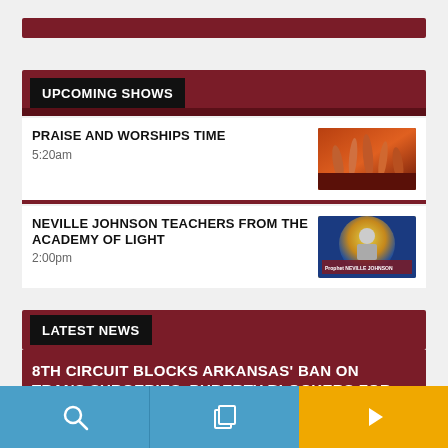UPCOMING SHOWS
PRAISE AND WORSHIPS TIME
5:20am
NEVILLE JOHNSON TEACHERS FROM THE ACADEMY OF LIGHT
2:00pm
LATEST NEWS
8TH CIRCUIT BLOCKS ARKANSAS' BAN ON TRANS SURGERIES, PUBERTY BLOCKERS FOR MINORS